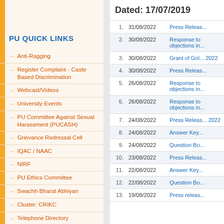PU QUICK LINKS
Anti-Ragging
Register Complaint - Caste Based Discrimination
Webcast/Videos
University Events
PU Committee Against Sexual Harassment (PUCASH)
Grievance Redressal Cell
IQAC / NAAC
NIRF
PU Ethics Committee
Swachh Bharat Abhiyan
Cluster: CRIKC
Telephone Directory
University Forms
Employment / Jobs
Right to Information
Alumni
Tenders
Dated: 17/07/2019
| # | Date | Title |
| --- | --- | --- |
| 1. | 31/08/2022 | Press Releas... |
| 2. | 30/08/2022 | Response to objections in... |
| 3. | 30/08/2022 | Grant of Gol... 2022 |
| 4. | 30/08/2022 | Press Releas... |
| 5. | 26/08/2022 | Response to objections in... |
| 6. | 26/08/2022 | Response to objections in... |
| 7. | 24/08/2022 | Press Releas... 2022 |
| 8. | 24/08/2022 | Answer Key... |
| 9. | 24/08/2022 | Question Bo... |
| 10. | 23/08/2022 | Press Releas... |
| 11. | 22/08/2022 | Answer Key... |
| 12. | 22/08/2022 | Question Bo... |
| 13. | 19/08/2022 | Press releas... |